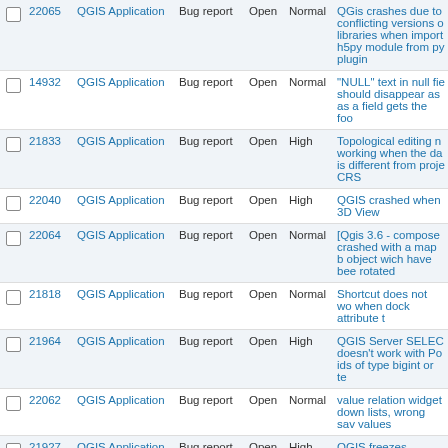|  | ID | Project | Type | Status | Priority | Description |
| --- | --- | --- | --- | --- | --- | --- |
|  | 22065 | QGIS Application | Bug report | Open | Normal | QGis crashes due to conflicting versions of libraries when import h5py module from py plugin |
|  | 14932 | QGIS Application | Bug report | Open | Normal | "NULL" text in null fie should disappear as as a field gets the foo |
|  | 21833 | QGIS Application | Bug report | Open | High | Topological editing no working when the da is different from proje CRS |
|  | 22040 | QGIS Application | Bug report | Open | High | QGIS crashed when 3D View |
|  | 22064 | QGIS Application | Bug report | Open | Normal | [Qgis 3.6 - compose crashed with a map b object wich have bee rotated |
|  | 21818 | QGIS Application | Bug report | Open | Normal | Shortcut does not wo when dock attribute t |
|  | 21964 | QGIS Application | Bug report | Open | High | QGIS Server SELEC doesn't work with Po ids of type bigint or te |
|  | 22062 | QGIS Application | Bug report | Open | Normal | value relation widget down lists, wrong sav values |
|  | 21927 | QGIS Application | Bug report | Open | High | QGIS freezes |
|  | 21758 | QGIS Application | Bug report | Open | Normal | Snapping to grid/obje does not work with ro item |
|  | 21723 | QGIS Application | Bug report | Open | High | Crash because of it |